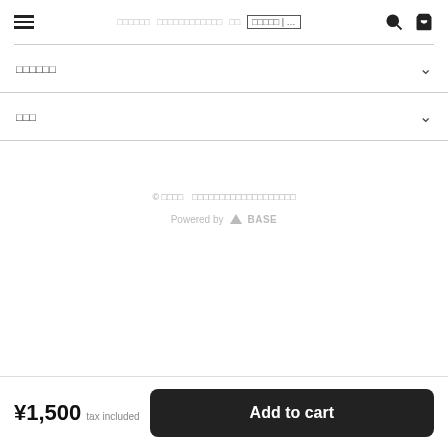≡  □□□□□□  □□□□□□□□□□□□  □□  □□□□□ | ...  🔍  🛒
□□□□□□ ∨
□□□ ∨
© □□□□  □□□□□□□□□□□□□□□□□□□
Powered by △ BASE
¥1,500  tax included   Add to cart